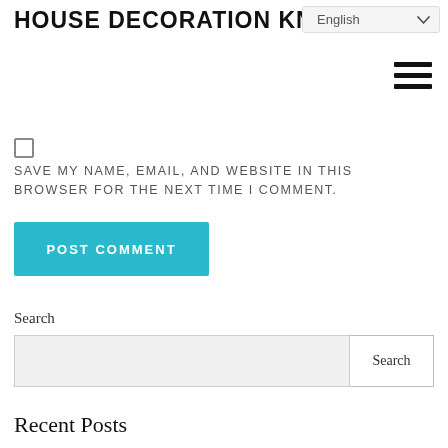HOUSE DECORATION KNOWLEDGE
[Figure (screenshot): Language selector dropdown showing 'English' with chevron]
[Figure (infographic): Hamburger menu icon (three horizontal lines)]
[Figure (other): Checkbox (unchecked)]
SAVE MY NAME, EMAIL, AND WEBSITE IN THIS BROWSER FOR THE NEXT TIME I COMMENT.
POST COMMENT
Search
Search
Recent Posts